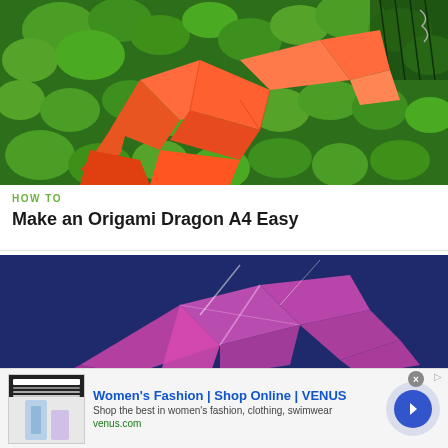[Figure (photo): Orange origami dragon figures placed on green leafy bushes background]
HOW TO
Make an Origami Dragon A4 Easy
[Figure (photo): Pink/magenta origami figure on dark blue background]
[Figure (other): Advertisement banner: Women's Fashion | Shop Online | VENUS. Shop the best in women's fashion, clothing, swimwear. venus.com]